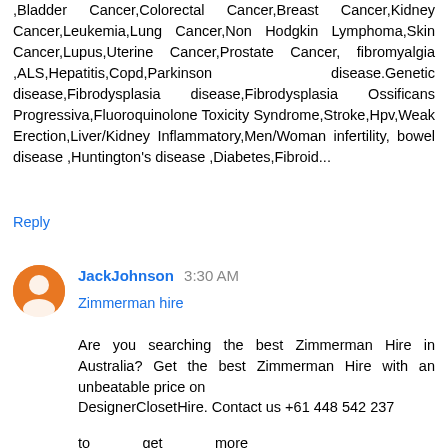,Bladder Cancer,Colorectal Cancer,Breast Cancer,Kidney Cancer,Leukemia,Lung Cancer,Non Hodgkin Lymphoma,Skin Cancer,Lupus,Uterine Cancer,Prostate Cancer, fibromyalgia ,ALS,Hepatitis,Copd,Parkinson disease.Genetic disease,Fibrodysplasia disease,Fibrodysplasia Ossificans Progressiva,Fluoroquinolone Toxicity Syndrome,Stroke,Hpv,Weak Erection,Liver/Kidney Inflammatory,Men/Woman infertility, bowel disease ,Huntington's disease ,Diabetes,Fibroid...
Reply
JackJohnson  3:30 AM
Zimmerman hire
Are you searching the best Zimmerman Hire in Australia? Get the best Zimmerman Hire with an unbeatable price on
DesignerClosetHire. Contact us +61 448 542 237
to get more